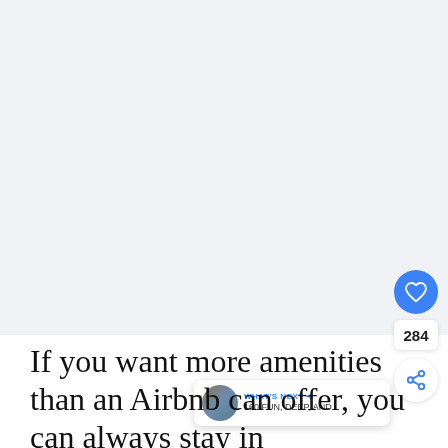[Figure (photo): Large light grey/white rectangular image placeholder area occupying the upper portion of the page]
If you want more amenities than an Airbnb can offer, you can always stay in